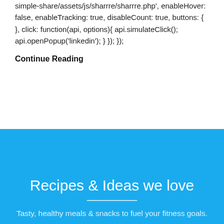simple-share/assets/js/sharrre/sharrre.php', enableHover: false, enableTracking: true, disableCount: true, buttons: { }, click: function(api, options){ api.simulateClick(); api.openPopup('linkedin'); } }); });
Continue Reading
Recipes & Ideas we love
Tasty, healthy meals & snacks to fuel your fitness goals.